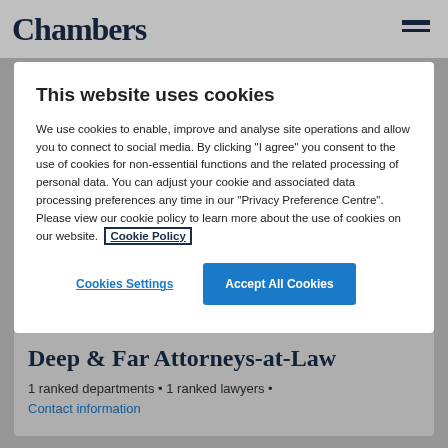Chambers
This website uses cookies
We use cookies to enable, improve and analyse site operations and allow you to connect to social media. By clicking "I agree" you consent to the use of cookies for non-essential functions and the related processing of personal data. You can adjust your cookie and associated data processing preferences any time in our "Privacy Preference Centre". Please view our cookie policy to learn more about the use of cookies on our website. Cookie Policy
Cookies Settings
Accept All Cookies
Deep & Far Attorneys-at-Law
1 ranked departments • 1 ranked lawyers •
Contact information